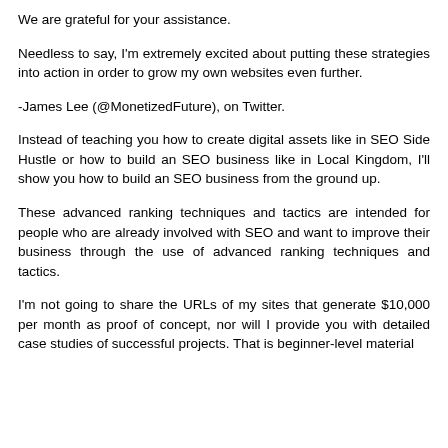We are grateful for your assistance.
Needless to say, I'm extremely excited about putting these strategies into action in order to grow my own websites even further.
-James Lee (@MonetizedFuture), on Twitter.
Instead of teaching you how to create digital assets like in SEO Side Hustle or how to build an SEO business like in Local Kingdom, I'll show you how to build an SEO business from the ground up.
These advanced ranking techniques and tactics are intended for people who are already involved with SEO and want to improve their business through the use of advanced ranking techniques and tactics.
I'm not going to share the URLs of my sites that generate $10,000 per month as proof of concept, nor will I provide you with detailed case studies of successful projects. That is beginner-level material